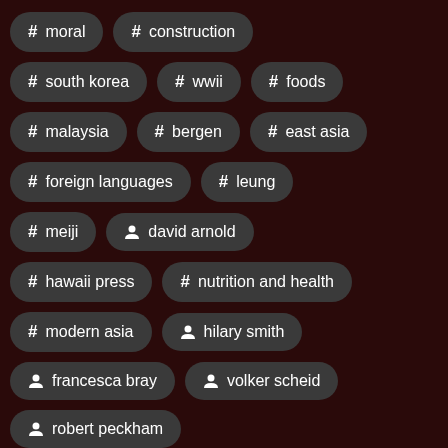# moral
# construction
# south korea
# wwii
# foods
# malaysia
# bergen
# east asia
# foreign languages
# leung
# meiji
person david arnold
# hawaii press
# nutrition and health
# modern asia
person hilary smith
person francesca bray
person volker scheid
person robert peckham